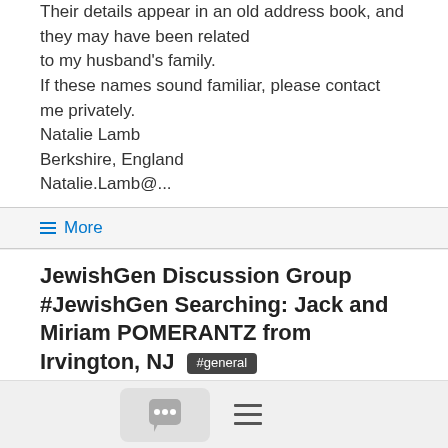Their details appear in an old address book, and they may have been related to my husband's family. If these names sound familiar, please contact me privately. Natalie Lamb Berkshire, England Natalie.Lamb@...
≡ More
JewishGen Discussion Group #JewishGen Searching: Jack and Miriam POMERANTZ from Irvington, NJ #general
NATALIE LAMB  7/19/05
I would like to trace any descendants or other relatives of Jack and Miriam POMERANTZ who lived in Irvington, New Jersey